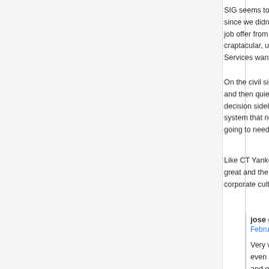SIG seems to be presenting a case that we knew we w... since we didn't get caught big enough, we're going to... job offer from VW or GM. I am not fighting the c... craptacular, underbid pistol procurement where this c... Services wanted a COTS solution and they picked an R...
On the civil side of the P320, the evidence points to tab... and then quietly never shipped. That reeks of a re... decision sidelined to a poor marketing decision. Han... system that needs weigh engineering risk. A compar... going to needlessly compromise their product, often wit...
Like CT Yankee, I unloaded my last SIG recently. The... great and the market for SIGs has peaked. Loss of use... corporate culture out of touch with the end user.
jose gordon says:
February 3, 2018 at 19:42
Very well put...the design might be nice but the it is... even a Glock fan but I can firmly say that the des... and enjoys the benefit of longevity and the en... Service End Users...the M17 program flies in the... does almost every Army W&TCV program) and is... of PM-IW who seems to make every same mista... own engorged lack of expertise and inability to pla... job...they are plagued with the wrong people in t... that problem, PM-SW and consequently POB... consequences of their hubris.